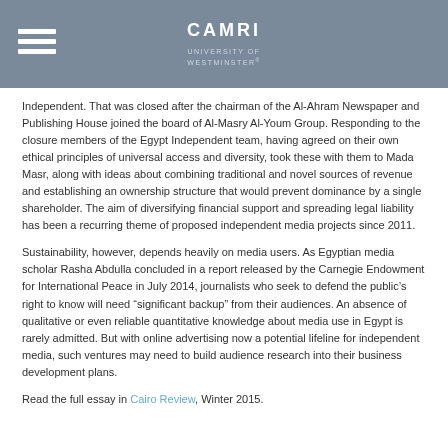CAMRI
UNIVERSITY OF WESTMINSTER
Independent. That was closed after the chairman of the Al-Ahram Newspaper and Publishing House joined the board of Al-Masry Al-Youm Group. Responding to the closure members of the Egypt Independent team, having agreed on their own ethical principles of universal access and diversity, took these with them to Mada Masr, along with ideas about combining traditional and novel sources of revenue and establishing an ownership structure that would prevent dominance by a single shareholder. The aim of diversifying financial support and spreading legal liability has been a recurring theme of proposed independent media projects since 2011.
Sustainability, however, depends heavily on media users. As Egyptian media scholar Rasha Abdulla concluded in a report released by the Carnegie Endowment for International Peace in July 2014, journalists who seek to defend the public’s right to know will need “significant backup” from their audiences. An absence of qualitative or even reliable quantitative knowledge about media use in Egypt is rarely admitted. But with online advertising now a potential lifeline for independent media, such ventures may need to build audience research into their business development plans.
Read the full essay in Cairo Review, Winter 2015.